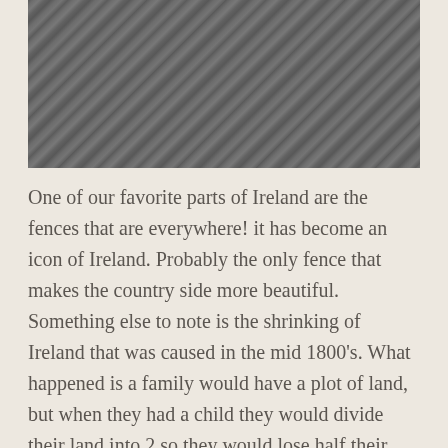[Figure (photo): Close-up photograph of a stone wall or rocky surface with textured gray stones, typical of Irish countryside stone fences.]
One of our favorite parts of Ireland are the fences that are everywhere!  it has become an icon of Ireland.  Probably the only fence that makes the country side more beautiful.  Something else to note is the shrinking of Ireland that was caused in the mid 1800's.  What happened is a family would have a plot of land, but when they had a child they would divide their land into 2 so they would lose half their land and the other half would go to their children.  When their children had children they would divide up their land, and so on.  This left the problem of shrinking land space and when the potato famine hit in 1940-1952 the reason why so many died or left Ireland.  Very interesting and